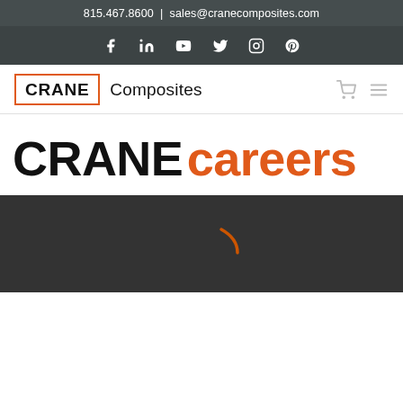815.467.8600 | sales@cranecomposites.com
[Figure (infographic): Social media icons bar: Facebook, LinkedIn, YouTube, Twitter, Instagram, Pinterest on dark background]
[Figure (logo): Crane Composites logo: CRANE in bold black inside orange rectangle border, followed by Composites in regular weight]
CRANE careers
[Figure (screenshot): Dark video player area with partial orange arc/play button visible in center]